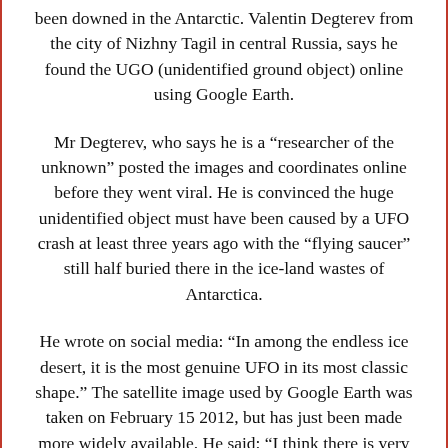been downed in the Antarctic. Valentin Degterev from the city of Nizhny Tagil in central Russia, says he found the UGO (unidentified ground object) online using Google Earth.
Mr Degterev, who says he is a “researcher of the unknown” posted the images and coordinates online before they went viral. He is convinced the huge unidentified object must have been caused by a UFO crash at least three years ago with the “flying saucer” still half buried there in the ice-land wastes of Antarctica.
He wrote on social media: “In among the endless ice desert, it is the most genuine UFO in its most classic shape.” The satellite image used by Google Earth was taken on February 15 2012, but has just been made more widely available. He said: “I think there is very large disc-shaped flying machine amongst the frozen ice,” he